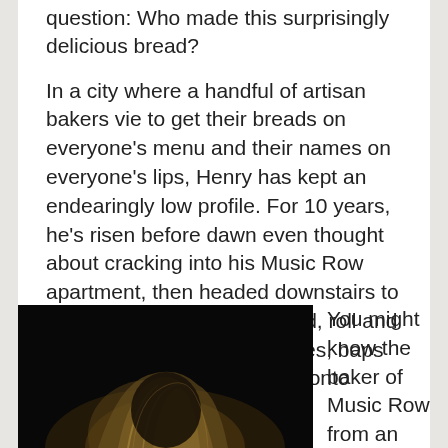question: Who made this surprisingly delicious bread?
In a city where a handful of artisan bakers vie to get their breads on everyone's menu and their names on everyone's lips, Henry has kept an endearingly low profile. For 10 years, he's risen before dawn even thought about cracking into his Music Row apartment, then headed downstairs to his sign-less bakery to knead, roll and bake a repertoire of baguettes, baps and bread bowls that sneak onto menus across town.
[Figure (photo): Dark photograph of a person with blonde highlighted hair, taken in low light conditions, mostly dark background]
You might know the baker of Music Row from an